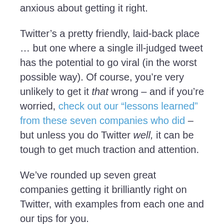anxious about getting it right.
Twitter’s a pretty friendly, laid-back place … but one where a single ill-judged tweet has the potential to go viral (in the worst possible way). Of course, you’re very unlikely to get it that wrong – and if you’re worried, check out our “lessons learned” from these seven companies who did – but unless you do Twitter well, it can be tough to get much traction and attention.
We’ve rounded up seven great companies getting it brilliantly right on Twitter, with examples from each one and our tips for you.
#1: Urban Outfitters: